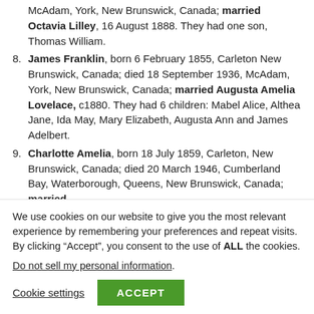McAdam, York, New Brunswick, Canada; married Octavia Lilley, 16 August 1888. They had one son, Thomas William.
8. James Franklin, born 6 February 1855, Carleton New Brunswick, Canada; died 18 September 1936, McAdam, York, New Brunswick, Canada; married Augusta Amelia Lovelace, c1880. They had 6 children: Mabel Alice, Althea Jane, Ida May, Mary Elizabeth, Augusta Ann and James Adelbert.
9. Charlotte Amelia, born 18 July 1859, Carleton, New Brunswick, Canada; died 20 March 1946, Cumberland Bay, Waterborough, Queens, New Brunswick, Canada; married
We use cookies on our website to give you the most relevant experience by remembering your preferences and repeat visits. By clicking “Accept”, you consent to the use of ALL the cookies.
Do not sell my personal information.
Cookie settings  ACCEPT